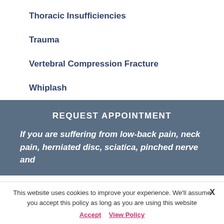Thoracic Insufficiencies
Trauma
Vertebral Compression Fracture
Whiplash
REQUEST APPOINTMENT
If you are suffering from low-back pain, neck pain, herniated disc, sciatica, pinched nerve and
This website uses cookies to improve your experience. We'll assume you accept this policy as long as you are using this website  Accept  View Policy